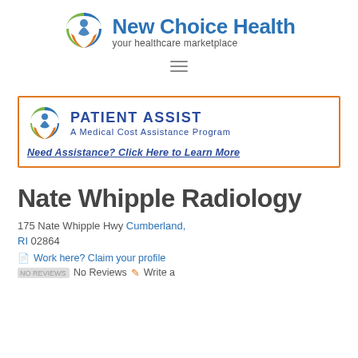[Figure (logo): New Choice Health logo - circular icon with green, blue, orange figure and text 'New Choice Health your healthcare marketplace']
[Figure (other): Hamburger menu icon (three horizontal lines)]
[Figure (logo): Patient Assist advertisement banner with logo, text 'PATIENT ASSIST - A Medical Cost Assistance Program' and link 'Need Assistance? Click Here to Learn More']
Nate Whipple Radiology
175 Nate Whipple Hwy Cumberland, RI 02864
Work here? Claim your profile
No Reviews  Write a